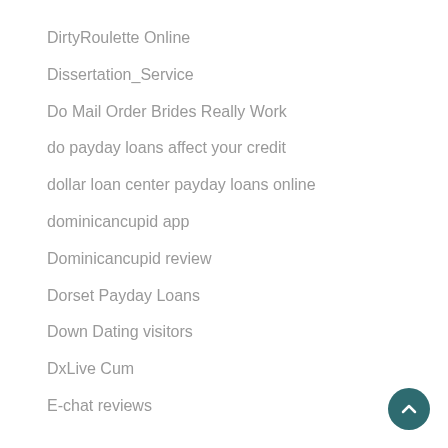DirtyRoulette Online
Dissertation_Service
Do Mail Order Brides Really Work
do payday loans affect your credit
dollar loan center payday loans online
dominicancupid app
Dominicancupid review
Dorset Payday Loans
Down Dating visitors
DxLive Cum
E-chat reviews